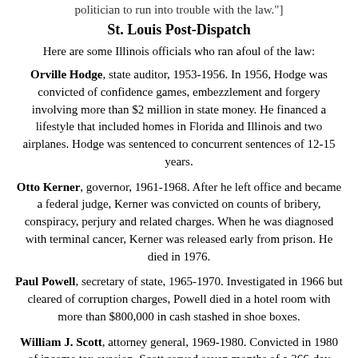politician to run into trouble with the law."]
St. Louis Post-Dispatch
Here are some Illinois officials who ran afoul of the law:
Orville Hodge, state auditor, 1953-1956. In 1956, Hodge was convicted of confidence games, embezzlement and forgery involving more than $2 million in state money. He financed a lifestyle that included homes in Florida and Illinois and two airplanes. Hodge was sentenced to concurrent sentences of 12-15 years.
Otto Kerner, governor, 1961-1968. After he left office and became a federal judge, Kerner was convicted on counts of bribery, conspiracy, perjury and related charges. When he was diagnosed with terminal cancer, Kerner was released early from prison. He died in 1976.
Paul Powell, secretary of state, 1965-1970. Investigated in 1966 but cleared of corruption charges, Powell died in a hotel room with more than $800,000 in cash stashed in shoe boxes.
William J. Scott, attorney general, 1969-1980. Convicted in 1980 of income tax evasion, Scott served seven months of a 366-day sentence.